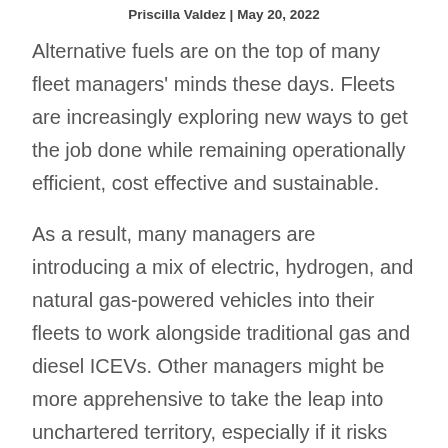Priscilla Valdez | May 20, 2022
Alternative fuels are on the top of many fleet managers' minds these days. Fleets are increasingly exploring new ways to get the job done while remaining operationally efficient, cost effective and sustainable.
As a result, many managers are introducing a mix of electric, hydrogen, and natural gas-powered vehicles into their fleets to work alongside traditional gas and diesel ICEVs. Other managers might be more apprehensive to take the leap into unchartered territory, especially if it risks compromising fleet efficiency.